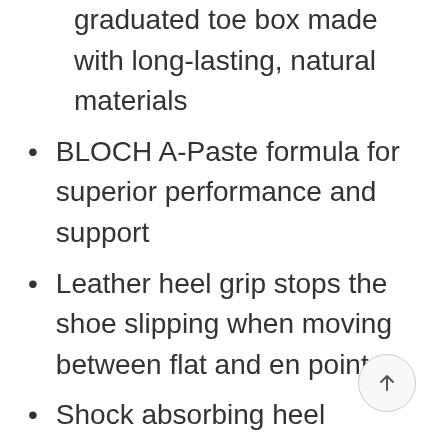graduated toe box made with long-lasting, natural materials
BLOCH A-Paste formula for superior performance and support
Leather heel grip stops the shoe slipping when moving between flat and en pointe
Shock absorbing heel
Removable internal gel cushions for the toe box for added comfort if the dancer chooses
Noise reduction technology